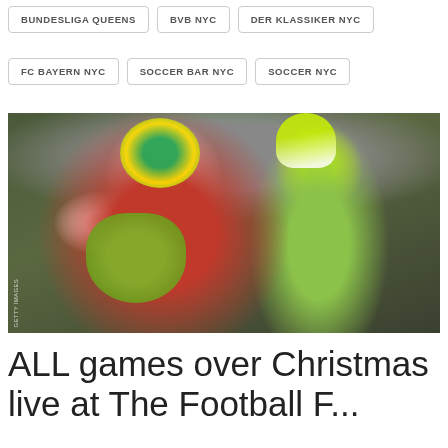BUNDESLIGA QUEENS
BVB NYC
DER KLASSIKER NYC
FC BAYERN NYC
SOCCER BAR NYC
SOCCER NYC
[Figure (photo): Two soccer fans dressed in Santa Claus costumes with colorful green and yellow wigs and green beards at a football stadium with green and yellow crowd in background. One fan raises a fist. A large green parrot mascot costume is also visible. Getty Images watermark visible.]
ALL games over Christmas live at The Football F...